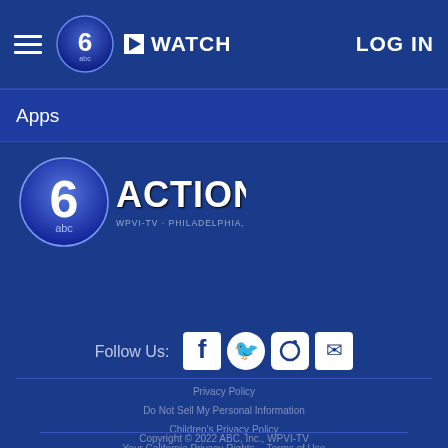6 Action News - WATCH - LOG IN
Apps
[Figure (logo): 6 ABC Action News logo - WPVI-TV Philadelphia PA]
Follow Us:
[Figure (infographic): Social media icons: Facebook, Twitter, Instagram, Email]
Privacy Policy | Do Not Sell My Personal Information | Children's Privacy Policy | Your California Privacy Rights | Terms of Use | Interest-Based Ads | Public Inspection File | FCC Applications
Copyright © 2022 ABC, Inc., WPVI-TV